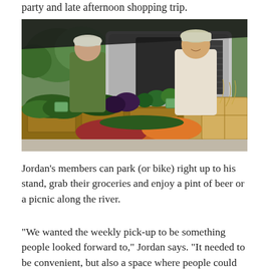party and late afternoon shopping trip.
[Figure (photo): Two men at an outdoor farmers market stand with a silver trailer in the background. The stand displays fresh vegetables including beets, carrots, green peppers, leafy greens, and other produce arranged on wooden crate shelves. The man on the left wears a green shirt and cap; the man on the right wears a white polo shirt and cap and is smiling.]
Jordan's members can park (or bike) right up to his stand, grab their groceries and enjoy a pint of beer or a picnic along the river.
“We wanted the weekly pick-up to be something people looked forward to,” Jordan says. “It needed to be convenient, but also a space where people could enjoy the